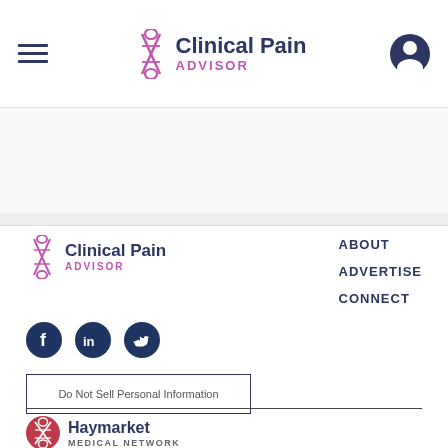Clinical Pain ADVISOR
[Figure (logo): Clinical Pain Advisor logo in page header with DNA helix icon]
[Figure (logo): Clinical Pain Advisor footer logo with DNA helix icon]
ABOUT
ADVERTISE
CONNECT
[Figure (illustration): Social media icons: Facebook, LinkedIn, Twitter in dark navy circles]
Do Not Sell Personal Information
[Figure (logo): Haymarket Medical Network logo at bottom]